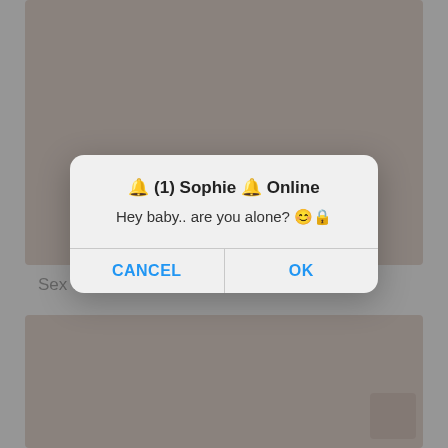[Figure (screenshot): Background webpage showing adult content images with a modal dialog overlay. The dialog reads: '🔔 (1) Sophie 🔔 Online' with message 'Hey baby.. are you alone? 😊🔒' and two buttons: CANCEL and OK.]
Sex with full girl (61 photos)
[Figure (screenshot): Modal alert dialog with title '🔔 (1) Sophie 🔔 Online', message 'Hey baby.. are you alone? 😊🔒', and buttons CANCEL and OK in blue text.]